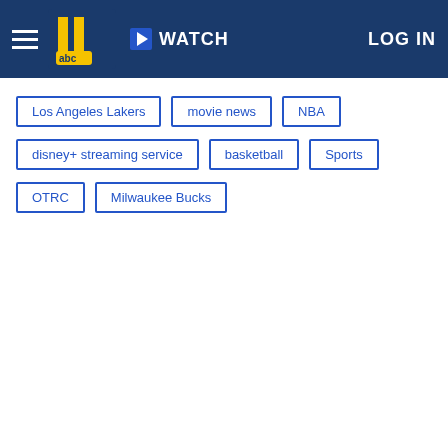WATCH | LOG IN
Los Angeles Lakers
movie news
NBA
disney+ streaming service
basketball
Sports
OTRC
Milwaukee Bucks